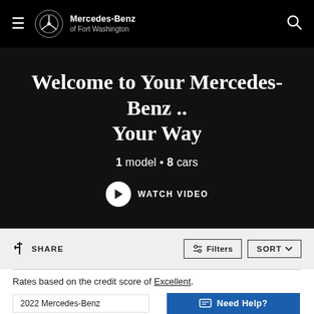Mercedes-Benz of Fort Washington
Welcome to Your Mercedes-Benz .. Your Way
1 model • 8 cars
WATCH VIDEO
SHARE
Filters
SORT
Rates based on the credit score of Excellent.
2022 Mercedes-Benz
Need Help?